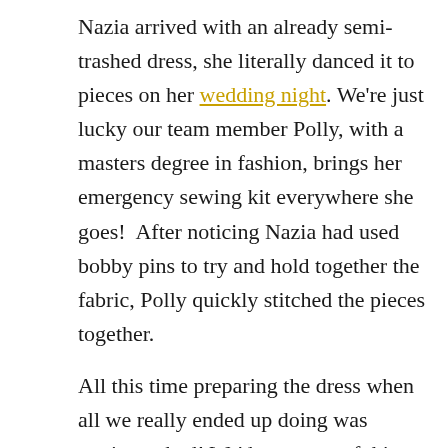Nazia arrived with an already semi-trashed dress, she literally danced it to pieces on her wedding night. We're just lucky our team member Polly, with a masters degree in fashion, brings her emergency sewing kit everywhere she goes!  After noticing Nazia had used bobby pins to try and hold together the fabric, Polly quickly stitched the pieces together.

All this time preparing the dress when all we really ended up doing was getting naked! We'd say most of this trash-the-dress session would get a #NSFW rating, but there are a few Adam and Eve style images that are safe enough to share. Swimming with a dress underwater has never been easy, but there is always one easy